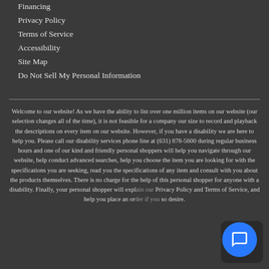Financing
Privacy Policy
Terms of Service
Accessibility
Site Map
Do Not Sell My Personal Information
Welcome to our website! As we have the ability to list over one million items on our website (our selection changes all of the time), it is not feasible for a company our size to record and playback the descriptions on every item on our website. However, if you have a disability we are here to help you. Please call our disability services phone line at (631) 878-5600 during regular business hours and one of our kind and friendly personal shoppers will help you navigate through our website, help conduct advanced searches, help you choose the item you are looking for with the specifications you are seeking, read you the specifications of any item and consult with you about the products themselves. There is no charge for the help of this personal shopper for anyone with a disability. Finally, your personal shopper will explain our Privacy Policy and Terms of Service, and help you place an order if you so desire.